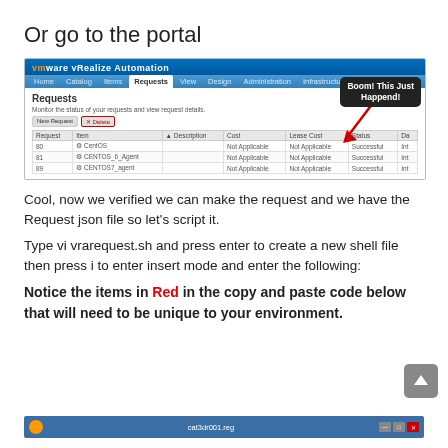Or go to the portal
[Figure (screenshot): VMware vRealize Automation portal screenshot showing the Requests tab with three rows (CentOS, CENTOS_6_Agent, CENTOS7_agent) all with status Successful, and a tooltip reading 'Boom! This Just Happend!']
Cool, now we verified we can make the request and we have the Request json file so let’s script it.
Type vi vrarequest.sh and press enter to create a new shell file then press i to enter insert mode and enter the following:
Notice the items in Red in the copy and paste code below that will need to be unique to your environment.
[Figure (screenshot): Bottom portion of a terminal or application window, partially visible]